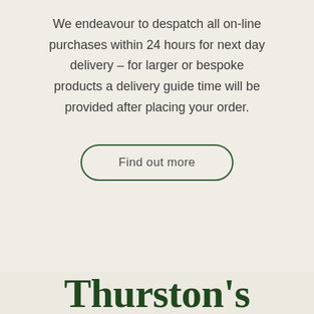We endeavour to despatch all on-line purchases within 24 hours for next day delivery – for larger or bespoke products a delivery guide time will be provided after placing your order.
Find out more
Thurston's